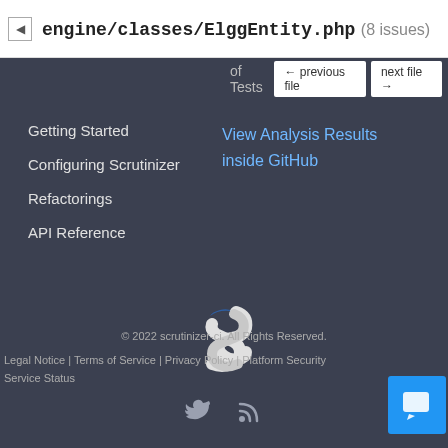engine/classes/ElggEntity.php (8 issues)
of Tests
← previous file   next file →
Getting Started
Configuring Scrutinizer
Refactorings
API Reference
View Analysis Results inside GitHub
[Figure (logo): Scrutinizer logo – stylized white S letter with blue accent]
© 2022 scrutinizer-ci. All Rights Reserved. Legal Notice | Terms of Service | Privacy Policy | Platform Security Service Status